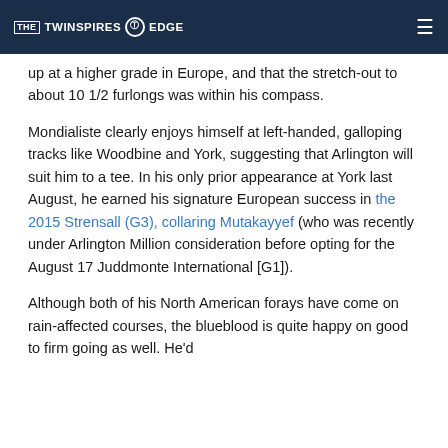THE TWINSPIRES EDGE
up at a higher grade in Europe, and that the stretch-out to about 10 1/2 furlongs was within his compass.
Mondialiste clearly enjoys himself at left-handed, galloping tracks like Woodbine and York, suggesting that Arlington will suit him to a tee. In his only prior appearance at York last August, he earned his signature European success in the 2015 Strensall (G3), collaring Mutakayyef (who was recently under Arlington Million consideration before opting for the August 17 Juddmonte International [G1]).
Although both of his North American forays have come on rain-affected courses, the blueblood is quite happy on good to firm going as well. He'd